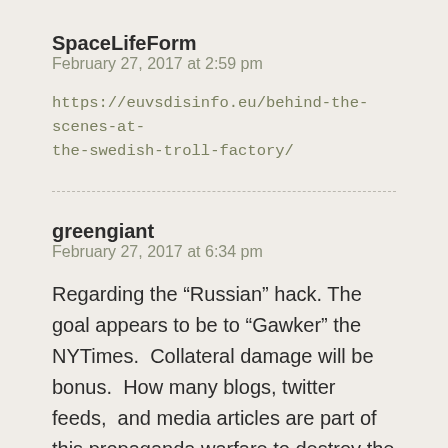SpaceLifeForm
February 27, 2017 at 2:59 pm
https://euvsdisinfo.eu/behind-the-scenes-at-the-swedish-troll-factory/
greengiant
February 27, 2017 at 6:34 pm
Regarding the “Russian” hack. The goal appears to be to “Gawker” the NYTimes.  Collateral damage will be bonus.  How many blogs, twitter feeds,  and media articles are part of this propaganda warfare to destroy the media?  I assume all blogs are honeypots of one form or another for the likes of